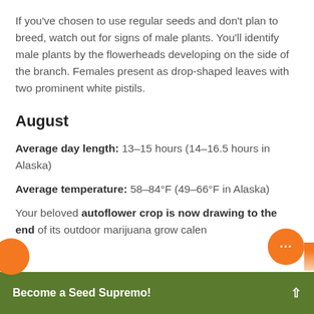If you've chosen to use regular seeds and don't plan to breed, watch out for signs of male plants. You'll identify male plants by the flowerheads developing on the side of the branch. Females present as drop-shaped leaves with two prominent white pistils.
August
Average day length: 13–15 hours (14–16.5 hours in Alaska)
Average temperature: 58–84°F (49–66°F in Alaska)
Your beloved autoflower crop is now drawing to the end of its outdoor marijuana grow calen...
Become a Seed Supremo!